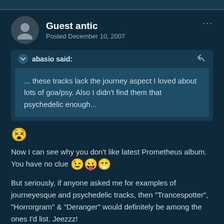Guest antic
Posted December 10, 2007
abasio said:
... these tracks lack the journey aspect I loved about lots of goa/psy. Also I didn't find them that psychedelic enough...
[Figure (illustration): Dizzy face emoji]
Now I can see why you don't like latest Prometheus album. You have no clue 😉😛😁
But seriously, if anyone asked me for examples of journeyesque and psychedelic tracks, then "Trancespotter", "Horrorgram" & "Deranger" would definitely be among the ones I'd list. Jeezzz!